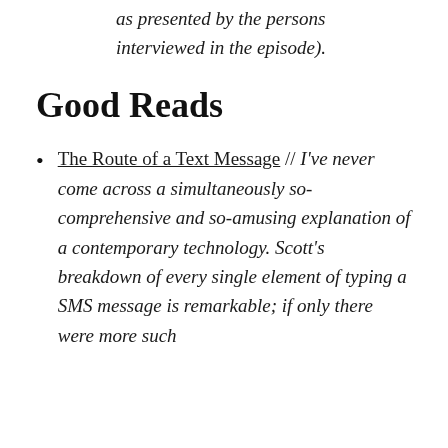as presented by the persons interviewed in the episode).
Good Reads
The Route of a Text Message // I've never come across a simultaneously so-comprehensive and so-amusing explanation of a contemporary technology. Scott's breakdown of every single element of typing a SMS message is remarkable; if only there were more such